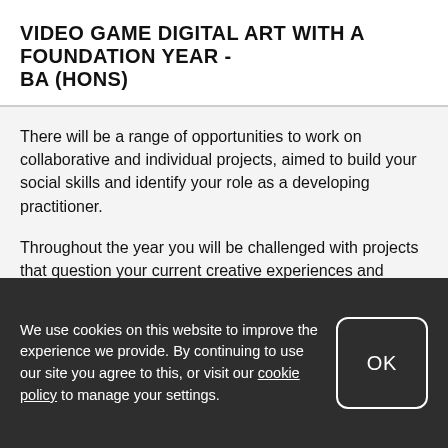VIDEO GAME DIGITAL ART WITH A FOUNDATION YEAR - BA (HONS)
There will be a range of opportunities to work on collaborative and individual projects, aimed to build your social skills and identify your role as a developing practitioner.
Throughout the year you will be challenged with projects that question your current creative experiences and explore a breadth of experimentation to broaden your technical and critical understanding.
We use cookies on this website to improve the experience we provide. By continuing to use our site you agree to this, or visit our cookie policy to manage your settings.